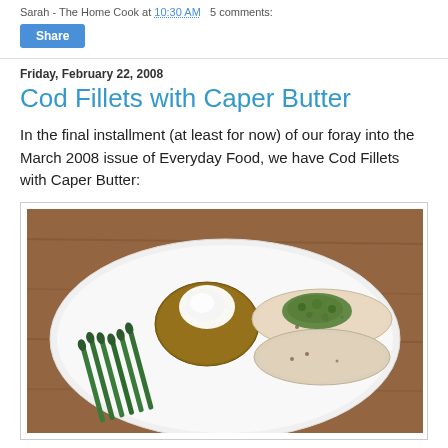Sarah - The Home Cook at 10:30 AM   5 comments:
Share
Friday, February 22, 2008
Cod Fillets with Caper Butter
In the final installment (at least for now) of our foray into the March 2008 issue of Everyday Food, we have Cod Fillets with Caper Butter:
[Figure (photo): A white plate with two cod fillets topped with green caper butter, a baked potato with sour cream, and a side of asparagus, on a wooden table.]